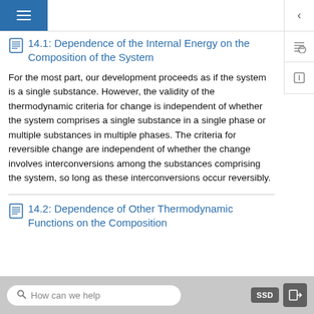14.1: Dependence of the Internal Energy on the Composition of the System
For the most part, our development proceeds as if the system is a single substance. However, the validity of the thermodynamic criteria for change is independent of whether the system comprises a single substance in a single phase or multiple substances in multiple phases. The criteria for reversible change are independent of whether the change involves interconversions among the substances comprising the system, so long as these interconversions occur reversibly.
14.2: Dependence of Other Thermodynamic Functions on the Composition
How can we help   SSD